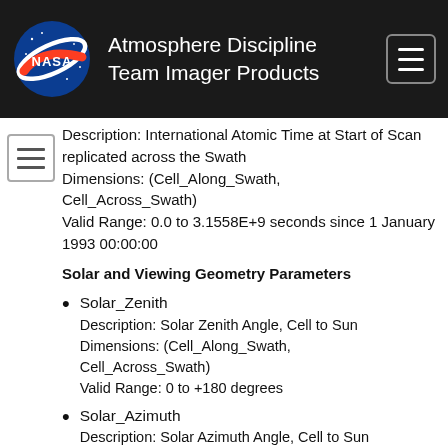Atmosphere Discipline Team Imager Products
Description: International Atomic Time at Start of Scan replicated across the Swath
Dimensions: (Cell_Along_Swath, Cell_Across_Swath)
Valid Range: 0.0 to 3.1558E+9 seconds since 1 January 1993 00:00:00
Solar and Viewing Geometry Parameters
Solar_Zenith
Description: Solar Zenith Angle, Cell to Sun
Dimensions: (Cell_Along_Swath, Cell_Across_Swath)
Valid Range: 0 to +180 degrees
Solar_Azimuth
Description: Solar Azimuth Angle, Cell to Sun
Dimensions: (Cell_Along_Swath,